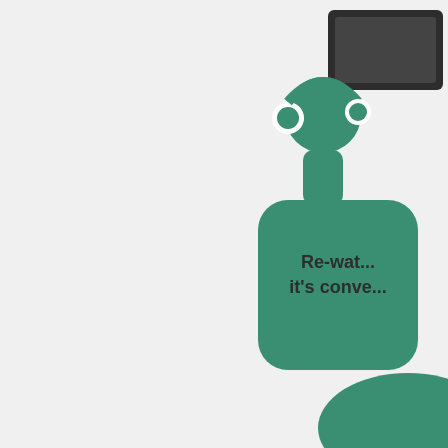[Figure (illustration): Illustration of a person wearing headphones sitting in front of a monitor/screen, depicted in teal/green flat icon style. The figure has a round head with headphones, a body in front of a dark rectangular screen.]
Re-wat... it's conve...
[Figure (illustration): Partial teal/green oval shape visible at the bottom-right corner of the page, likely part of another illustration element.]